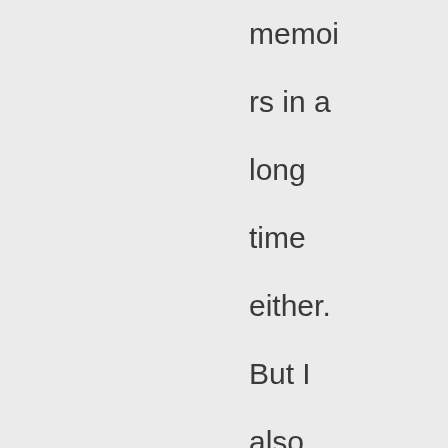memoirs in a long time either. But I also just figured out how to get my other blog (where my